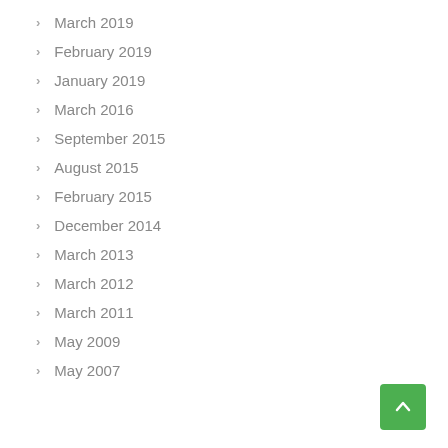March 2019
February 2019
January 2019
March 2016
September 2015
August 2015
February 2015
December 2014
March 2013
March 2012
March 2011
May 2009
May 2007